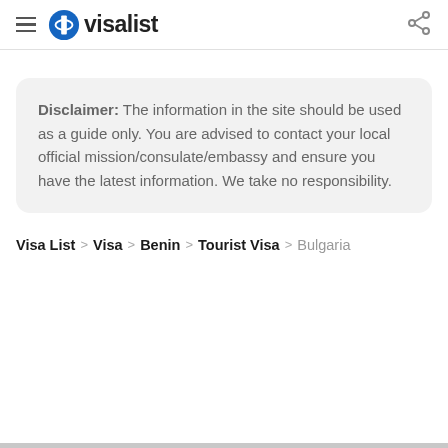visalist
Disclaimer: The information in the site should be used as a guide only. You are advised to contact your local official mission/consulate/embassy and ensure you have the latest information. We take no responsibility.
Visa List > Visa > Benin > Tourist Visa > Bulgaria